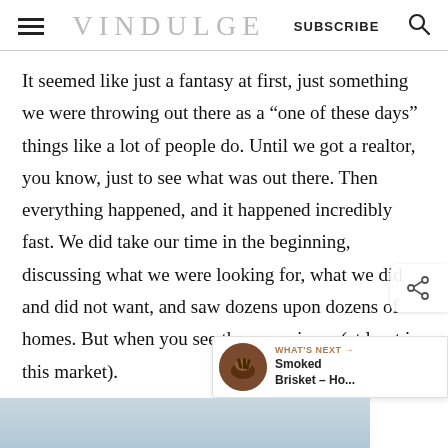VINDULGE | SUBSCRIBE
It seemed like just a fantasy at first, just something we were throwing out there as a “one of these days” things like a lot of people do. Until we got a realtor, you know, just to see what was out there. Then everything happened, and it happened incredibly fast. We did take our time in the beginning, discussing what we were looking for, what we did and did not want, and saw dozens upon dozens of homes. But when you see the o you jump (at least in this market).
[Figure (screenshot): WHAT'S NEXT arrow with Smoked Brisket thumbnail]
[Figure (photo): Bottom partial image showing sky/landscape]